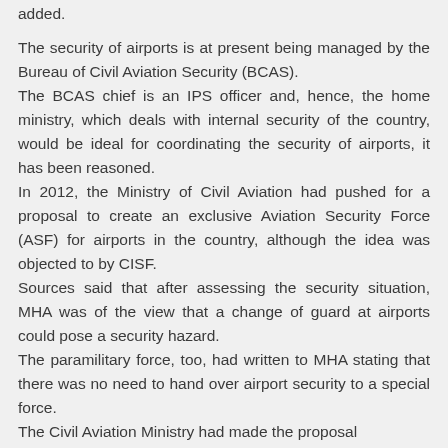added.

The security of airports is at present being managed by the Bureau of Civil Aviation Security (BCAS).
The BCAS chief is an IPS officer and, hence, the home ministry, which deals with internal security of the country, would be ideal for coordinating the security of airports, it has been reasoned.
In 2012, the Ministry of Civil Aviation had pushed for a proposal to create an exclusive Aviation Security Force (ASF) for airports in the country, although the idea was objected to by CISF.
Sources said that after assessing the security situation, MHA was of the view that a change of guard at airports could pose a security hazard.
The paramilitary force, too, had written to MHA stating that there was no need to hand over airport security to a special force.
The Civil Aviation Ministry had made the proposal